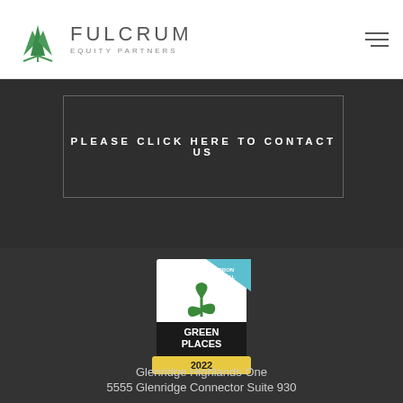[Figure (logo): Fulcrum Equity Partners logo with green mountain/arrow icon and company name]
PLEASE CLICK HERE TO CONTACT US
[Figure (logo): Green Places 2022 Carbon Neutral certification badge with green plant icon on white and black background with yellow banner]
Glenridge Highlands One
5555 Glenridge Connector Suite 930